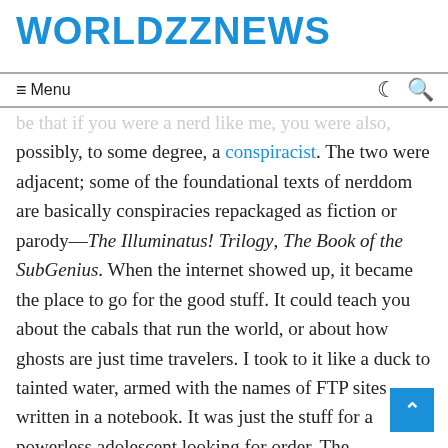WORLDZZNEWS
Menu
possibly, to some degree, a conspiracist. The two were adjacent; some of the foundational texts of nerddom are basically conspiracies repackaged as fiction or parody—The Illuminatus! Trilogy, The Book of the SubGenius. When the internet showed up, it became the place to go for the good stuff. It could teach you about the cabals that run the world, or about how ghosts are just time travelers. I took to it like a duck to tainted water, armed with the names of FTP sites written in a notebook. It was just the stuff for a powerless adolescent looking for order. The alternative—that I was a normal person instead of a suppressed genius—was unthinkable.